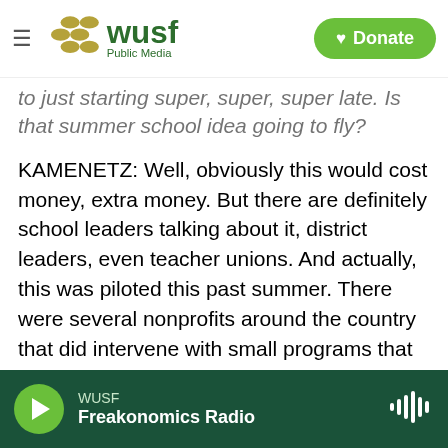WUSF Public Media | Donate
to just starting super, super, super late. Is that summer school idea going to fly?
KAMENETZ: Well, obviously this would cost money, extra money. But there are definitely school leaders talking about it, district leaders, even teacher unions. And actually, this was piloted this past summer. There were several nonprofits around the country that did intervene with small programs that did show success, even virtually.
And the reason they're called acceleration academy, Steve, and not just summer school was this highly structured tutoring. This is something
WUSF — Freakonomics Radio